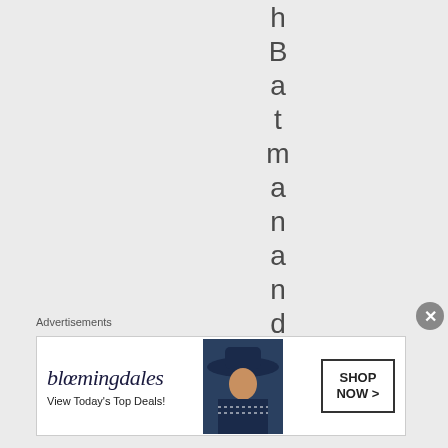hBatmanandDets
Advertisements
[Figure (illustration): Bloomingdale's advertisement banner showing logo, 'View Today's Top Deals!' tagline, a woman in a wide-brim hat, and a 'SHOP NOW >' button]